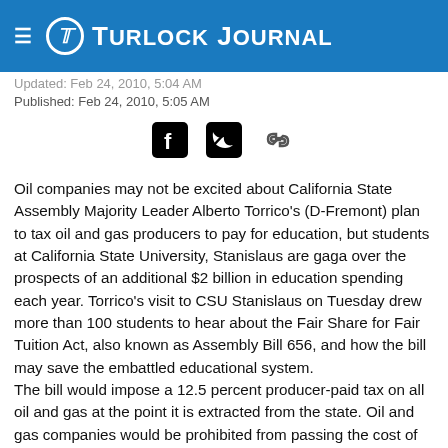Turlock Journal
Updated: Feb 24, 2010, 5:04 AM
Published: Feb 24, 2010, 5:05 AM
[Figure (other): Social sharing icons: Facebook, Twitter, and link/chain icon]
Oil companies may not be excited about California State Assembly Majority Leader Alberto Torrico's (D-Fremont) plan to tax oil and gas producers to pay for education, but students at California State University, Stanislaus are gaga over the prospects of an additional $2 billion in education spending each year. Torrico's visit to CSU Stanislaus on Tuesday drew more than 100 students to hear about the Fair Share for Fair Tuition Act, also known as Assembly Bill 656, and how the bill may save the embattled educational system.
The bill would impose a 12.5 percent producer-paid tax on all oil and gas at the point it is extracted from the state. Oil and gas companies would be prohibited from passing the cost of the tax on to consumers because, as Torrico says, "I don't trust oil